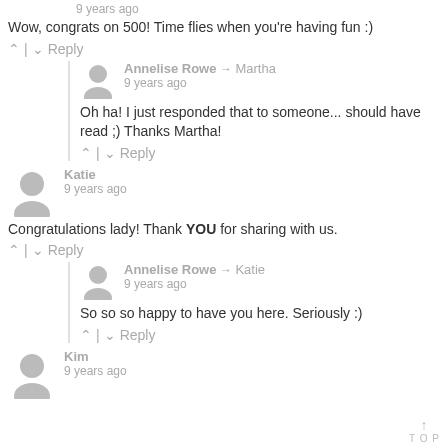9 years ago
Wow, congrats on 500! Time flies when you're having fun :)
^ | v Reply
Annelise Rowe → Martha
9 years ago
Oh ha! I just responded that to someone... should have read ;) Thanks Martha!
^ | v Reply
Katie
9 years ago
Congratulations lady! Thank YOU for sharing with us.
^ | v Reply
Annelise Rowe → Katie
9 years ago
So so so happy to have you here. Seriously :)
^ | v Reply
Kim
9 years ago